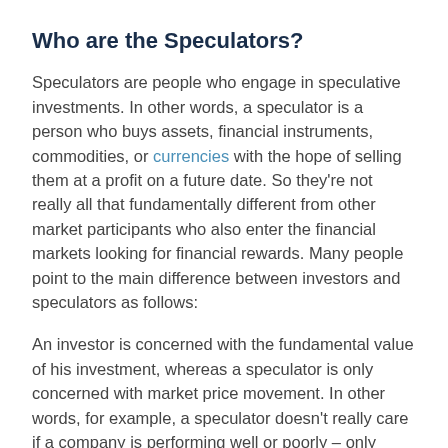Who are the Speculators?
Speculators are people who engage in speculative investments. In other words, a speculator is a person who buys assets, financial instruments, commodities, or currencies with the hope of selling them at a profit on a future date. So they're not really all that fundamentally different from other market participants who also enter the financial markets looking for financial rewards. Many people point to the main difference between investors and speculators as follows:
An investor is concerned with the fundamental value of his investment, whereas a speculator is only concerned with market price movement. In other words, for example, a speculator doesn't really care if a company is performing well or poorly – only about